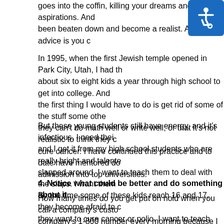goes into the coffin, killing your dreams and your aspirations. And been beaten down and become a realist. And my advice is you c
In 1995, when the first Jewish temple opened in Park City, Utah, I had th about six to eight kids a year through high school to get into college. And the first thing I would have to do is get rid of some of the stuff some othe they can't do math well or write well, or that it's not realistic to think they c cure cancer. I have continued this practice and to date have mentored do admission into top universities.
But these young students still have energy, and it's infectious. I need thei and I get it from my high school students who are really bright and talent slapped around. I want to teach them to deal with the slaps. I want them By the time some of these kids reach 16 and 17, they become afraid to c they want to cure cancer or polio. I want to teach them they can do anyth them to go out and improve the world.
4. Notice what could be better and do something about it.
How many times do you get put on hold when you call a company's custo company's 1-800 number every morning because I want to stay close to I see areas for improvement, I'll record all the information and give it to m change in a couple of months, I send letters to the directors saying we ne company who got my letter three months ago and ask why the problem h